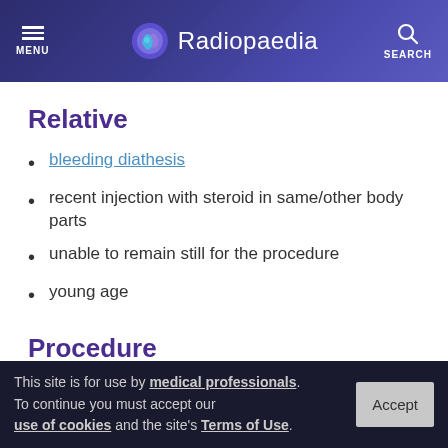Radiopaedia
Relative
bleeding diathesis
recent injection with steroid in same/other body parts
unable to remain still for the procedure
young age
Procedure
The general principle of pudendal nerve blocks is
This site is for use by medical professionals. To continue you must accept our use of cookies and the site's Terms of Use.